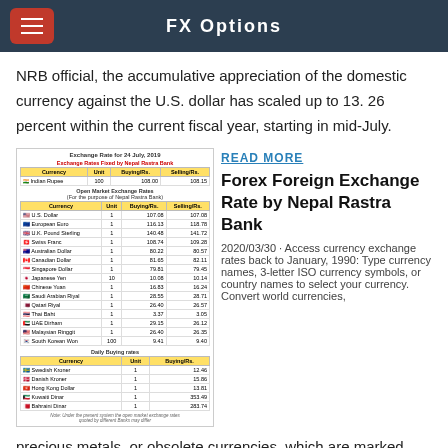FX Options
NRB official, the accumulative appreciation of the domestic currency against the U.S. dollar has scaled up to 13. 26 percent within the current fiscal year, starting in mid-July.
[Figure (table-as-image): Exchange Rate for 24 July 2019 - Exchange Rates Fixed by Nepal Rastra Bank table showing Currency, Unit, Buying/Rs., Selling/Rs. for Indian Rupee and Open Market Exchange Rates for multiple currencies including U.S. Dollar, European Euro, U.K. Pound Sterling, Swiss Franc, Australian Dollar, Canadian Dollar, Singapore Dollar, Japanese Yen, Chinese Yuan, Saudi Arabian Riyal, Qatari Riyal, Thai Baht, UAE Dirham, Malaysian Ringgit, South Korean Won. Also Daily Buying Rates for Swedish Kroner, Danish Kroner, Hong Kong Dollar, Kuwaiti Dinar, Bahraini Dinar.]
READ MORE
Forex Foreign Exchange Rate by Nepal Rastra Bank
2020/03/30 · Access currency exchange rates back to January, 1990: Type currency names, 3-letter ISO currency symbols, or country names to select your currency. Convert world currencies, precious metals, or obsolete currencies, which are marked with an asterisk (*). Choose a percentage from the interbank rate list to better approximate the tourist exchange